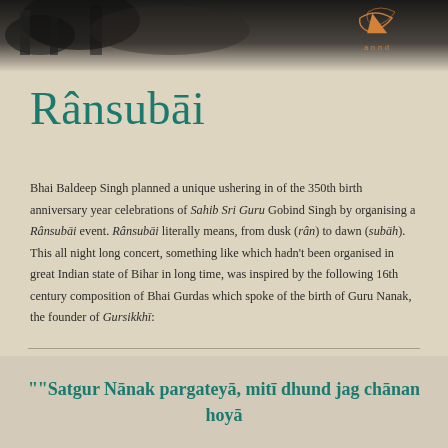[Figure (photo): Black and white photograph of a building or temple with trees, forming a decorative header banner with an orange logo/swirl in the top right area.]
Rânsubâi
Bhai Baldeep Singh planned a unique ushering in of the 350th birth anniversary year celebrations of Sahib Sri Guru Gobind Singh by organising a Rânsubâi event. Rânsubâi literally means, from dusk (râñ) to dawn (subâh). This all night long concert, something like which hadn't been organised in great Indian state of Bihar in long time, was inspired by the following 16th century composition of Bhai Gurdas which spoke of the birth of Guru Nanak, the founder of Gursikkhî:
""Satgur Nânak pargateyâ, mitî dhund jag chânan hoyâ